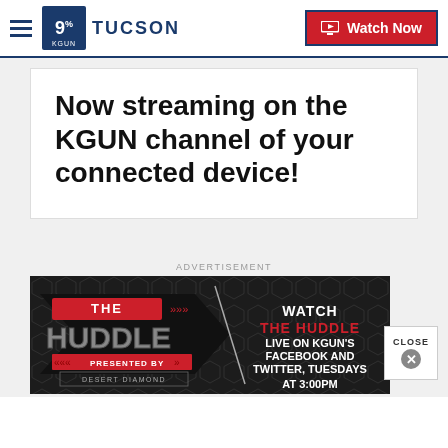9 KGUN TUCSON | Watch Now
Now streaming on the KGUN channel of your connected device!
ADVERTISEMENT
[Figure (infographic): Advertisement banner for 'The Huddle' show on a dark hexagonal background. Left side shows 'THE HUDDLE presented by DESERT DIAMOND' logo in red and grey. Right side text reads: WATCH THE HUDDLE LIVE ON KGUN'S FACEBOOK AND TWITTER, TUESDAYS AT 3:00PM]
CLOSE ✕